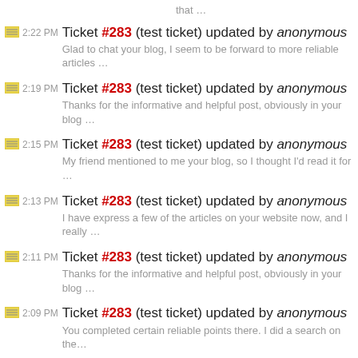that …
2:22 PM Ticket #283 (test ticket) updated by anonymous
Glad to chat your blog, I seem to be forward to more reliable articles …
2:19 PM Ticket #283 (test ticket) updated by anonymous
Thanks for the informative and helpful post, obviously in your blog …
2:15 PM Ticket #283 (test ticket) updated by anonymous
My friend mentioned to me your blog, so I thought I'd read it for …
2:13 PM Ticket #283 (test ticket) updated by anonymous
I have express a few of the articles on your website now, and I really …
2:11 PM Ticket #283 (test ticket) updated by anonymous
Thanks for the informative and helpful post, obviously in your blog …
2:09 PM Ticket #283 (test ticket) updated by anonymous
You completed certain reliable points there. I did a search on the…